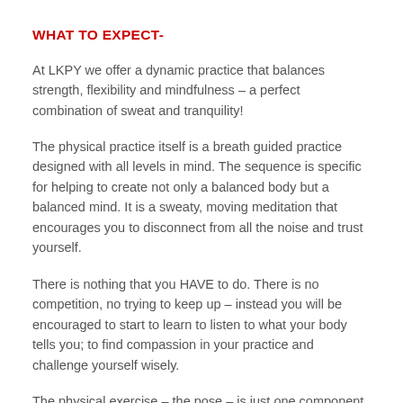WHAT TO EXPECT-
At LKPY we offer a dynamic practice that balances strength, flexibility and mindfulness – a perfect combination of sweat and tranquility!
The physical practice itself is a breath guided practice designed with all levels in mind. The sequence is specific for helping to create not only a balanced body but a balanced mind. It is a sweaty, moving meditation that encourages you to disconnect from all the noise and trust yourself.
There is nothing that you HAVE to do. There is no competition, no trying to keep up – instead you will be encouraged to start to learn to listen to what your body tells you; to find compassion in your practice and challenge yourself wisely.
The physical exercise – the pose – is just one component of a yoga practice. The real POWER in Power Yoga